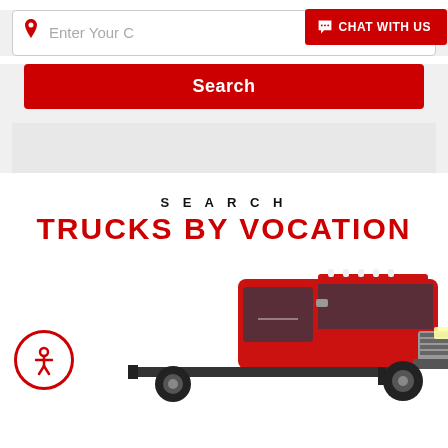[Figure (screenshot): Search bar UI with location pin icon, placeholder text 'Enter Your C...', and a red 'CHAT WITH US' button with speech bubble icon]
[Figure (screenshot): Red 'Search' button spanning full width]
SEARCH
TRUCKS BY VOCATION
[Figure (photo): Red Freightliner medium-duty truck, cab-chassis style, viewed from front-right angle on white background, with red accessibility icon (person in circle) in bottom-left corner]